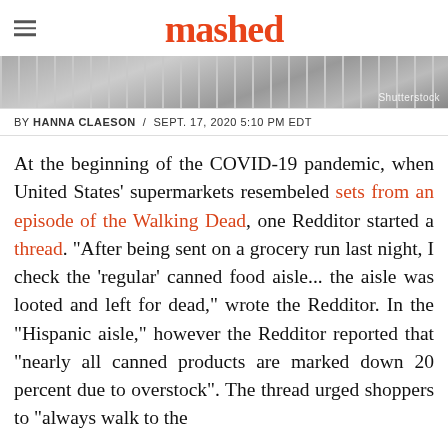mashed
[Figure (photo): Grocery store aisle photo strip with Shutterstock watermark]
BY HANNA CLAESON / SEPT. 17, 2020 5:10 PM EDT
At the beginning of the COVID-19 pandemic, when United States' supermarkets resembeled sets from an episode of the Walking Dead, one Redditor started a thread. "After being sent on a grocery run last night, I check the 'regular' canned food aisle... the aisle was looted and left for dead," wrote the Redditor. In the "Hispanic aisle," however the Redditor reported that "nearly all canned products are marked down 20 percent due to overstock". The thread urged shoppers to "always walk to the